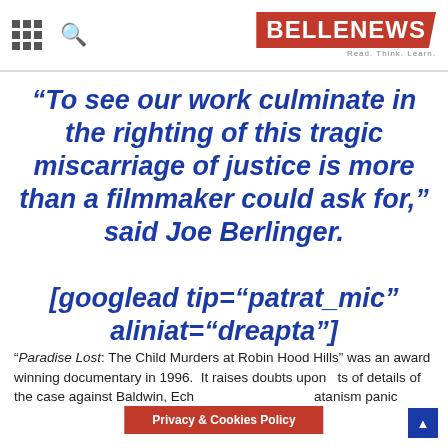BELLENEWS – Read. Think. Learn.
“To see our work culminate in the righting of this tragic miscarriage of justice is more than a filmmaker could ask for,” said Joe Berlinger.

[googlead tip=“patrat_mic” aliniat=“dreapta”]
“Paradise Lost: The Child Murders at Robin Hood Hills” was an award winning documentary in 1996. It raises doubts upon lots of details of the case against Baldwin, Echols and Misskelley, incl. a Satanism panic